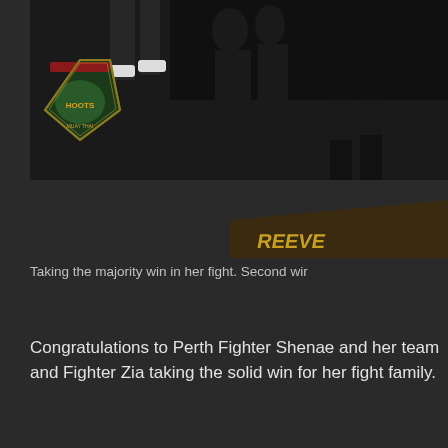[Figure (photo): Fight event photo showing fighters on a dark stage with a Hoots Muay Thai logo/badge visible on the left side. Fighters are standing on what appears to be a fighting platform with orange and gold branding visible.]
Taking the majority win in her fight. Second wir
Congratulations to Perth Fighter Shenae and her team and Fighter Zia taking the solid win for her fight family.
[Figure (photo): Blue-lit stage or fighting event venue photo, showing silhouettes and stage lighting in blue tones with what appears to be a logo/sign on the right side.]